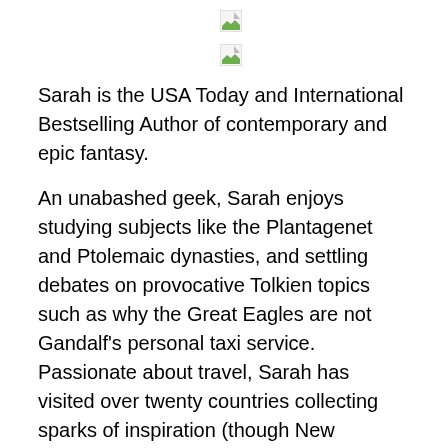[Figure (illustration): Two broken image icons stacked vertically, each showing a small thumbnail placeholder with a green corner graphic.]
Sarah is the USA Today and International Bestselling Author of contemporary and epic fantasy.
An unabashed geek, Sarah enjoys studying subjects like the Plantagenet and Ptolemaic dynasties, and settling debates on provocative Tolkien topics such as why the Great Eagles are not Gandalf’s personal taxi service. Passionate about travel, Sarah has visited over twenty countries collecting sparks of inspiration (though New Orleans is where her heart rests). She’s a self-professed expert at crafting original songs to sing to her very patient pets, and a seasoned professional at finding ways to humiliate herself (bonus points if it happens in public).